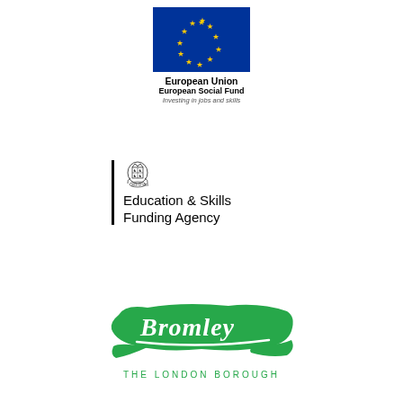[Figure (logo): European Union European Social Fund logo — blue flag with yellow stars circle, text 'European Union', 'European Social Fund', 'Investing in jobs and skills']
[Figure (logo): Education & Skills Funding Agency logo — Royal Coat of Arms crest above left vertical bar, text 'Education & Skills Funding Agency']
[Figure (logo): Bromley - The London Borough logo — green brush-stroke style with white handwritten 'Bromley' text and 'THE LONDON BOROUGH' in green capitals below]